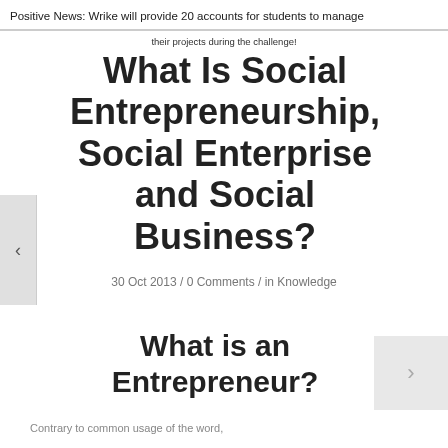Positive News: Wrike will provide 20 accounts for students to manage
their projects during the challenge!
What Is Social Entrepreneurship, Social Enterprise and Social Business?
30 Oct 2013 / 0 Comments / in Knowledge
What is an Entrepreneur?
Contrary to common usage of the word,